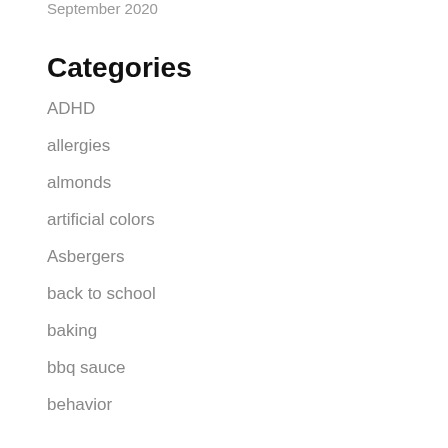September 2020
Categories
ADHD
allergies
almonds
artificial colors
Asbergers
back to school
baking
bbq sauce
behavior
Ben Feingold
Books
bread